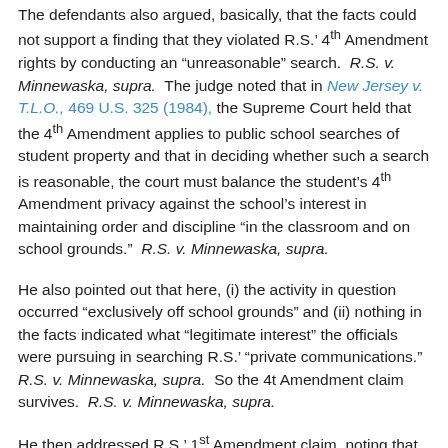The defendants also argued, basically, that the facts could not support a finding that they violated R.S.' 4th Amendment rights by conducting an “unreasonable” search.  R.S. v. Minnewaska, supra.  The judge noted that in New Jersey v. T.L.O., 469 U.S. 325 (1984), the Supreme Court held that the 4th Amendment applies to public school searches of student property and that in deciding whether such a search is reasonable, the court must balance the student’s 4th Amendment privacy against the school’s interest in maintaining order and discipline “in the classroom and on school grounds.”  R.S. v. Minnewaska, supra.
He also pointed out that here, (i) the activity in question occurred “exclusively off school grounds” and (ii) nothing in the facts indicated what “legitimate interest” the officials were pursuing in searching R.S.’ “private communications.”  R.S. v. Minnewaska, supra.  So the 4t Amendment claim survives.  R.S. v. Minnewaska, supra.
He then addressed R.S.’ 1st Amendment claim, noting that the Supreme Court held, in Tinkerv. Des Moines Independent Community School District, 393 U.S. 503